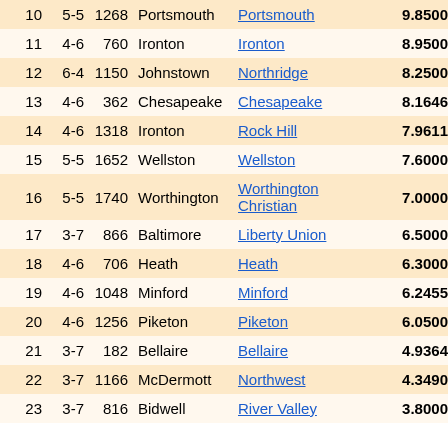| Rank | Rec | Pts | City | School | Score | Last |
| --- | --- | --- | --- | --- | --- | --- |
| 10 | 5-5 | 1268 | Portsmouth | Portsmouth | 9.8500 | 22.0 |
| 11 | 4-6 | 760 | Ironton | Ironton | 8.9500 | 18.5 |
| 12 | 6-4 | 1150 | Johnstown | Northridge | 8.2500 | 26.5 |
| 13 | 4-6 | 362 | Chesapeake | Chesapeake | 8.1646 | 17.0 |
| 14 | 4-6 | 1318 | Ironton | Rock Hill | 7.9611 | 18.5 |
| 15 | 5-5 | 1652 | Wellston | Wellston | 7.6000 | 22.0 |
| 16 | 5-5 | 1740 | Worthington | Worthington Christian | 7.0000 | 17.5 |
| 17 | 3-7 | 866 | Baltimore | Liberty Union | 6.5000 | 14.5 |
| 18 | 4-6 | 706 | Heath | Heath | 6.3000 | 20.5 |
| 19 | 4-6 | 1048 | Minford | Minford | 6.2455 | 17.0 |
| 20 | 4-6 | 1256 | Piketon | Piketon | 6.0500 | 17.0 |
| 21 | 3-7 | 182 | Bellaire | Bellaire | 4.9364 | 13.0 |
| 22 | 3-7 | 1166 | McDermott | Northwest | 4.3490 | 10.5 |
| 23 | 3-7 | 816 | Bidwell | River Valley | 3.8000 | 12.5 |